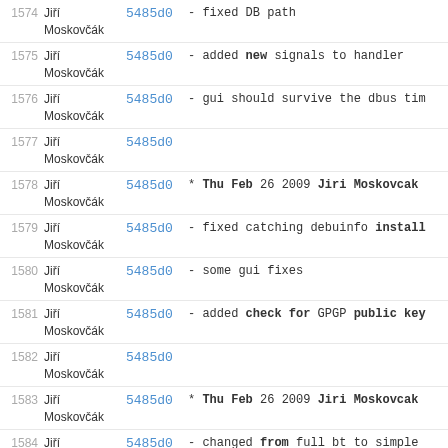| Rev | Author | Commit | Message |
| --- | --- | --- | --- |
| 1574 | Jiří Moskovčák | 5485d0 | - fixed DB path |
| 1575 | Jiří Moskovčák | 5485d0 | - added new signals to handler |
| 1576 | Jiří Moskovčák | 5485d0 | - gui should survive the dbus tim |
| 1577 | Jiří Moskovčák | 5485d0 |  |
| 1578 | Jiří Moskovčák | 5485d0 | * Thu Feb 26 2009 Jiri Moskovcak |
| 1579 | Jiří Moskovčák | 5485d0 | - fixed catching debuinfo install |
| 1580 | Jiří Moskovčák | 5485d0 | - some gui fixes |
| 1581 | Jiří Moskovčák | 5485d0 | - added check for GPGP public key |
| 1582 | Jiří Moskovčák | 5485d0 |  |
| 1583 | Jiří Moskovčák | 5485d0 | * Thu Feb 26 2009 Jiri Moskovcak |
| 1584 | Jiří Moskovčák | 5485d0 | - changed from full bt to simple |